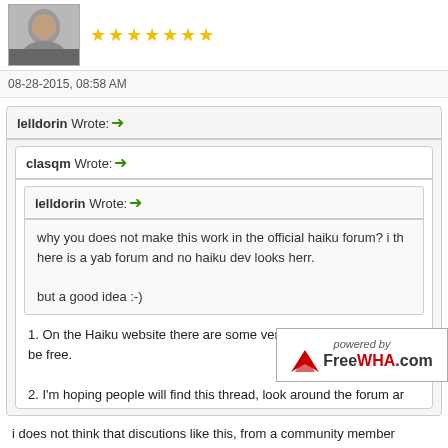[Figure (photo): User avatar photo of a person, partial view, with gold star rating icons to the right]
08-28-2015, 08:58 AM
lelldorin Wrote: →
clasqm Wrote: →
lelldorin Wrote: →
why you does not make this work in the official haiku forum? i th here is a yab forum and no haiku dev looks herr.

but a good idea :-)
1. On the Haiku website there are some very thin-skinned people be free.

2. I'm hoping people will find this thread, look around the forum ar
i does not think that discutions like this, from a community member